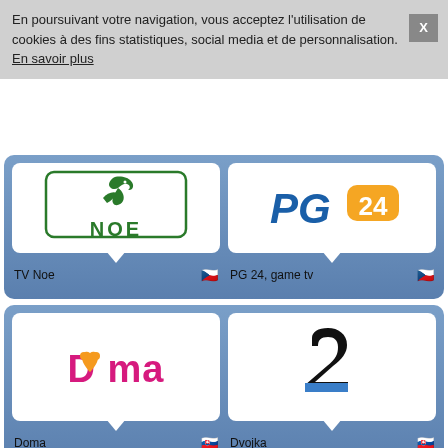En poursuivant votre navigation, vous acceptez l'utilisation de cookies à des fins statistiques, social media et de personnalisation. En savoir plus
[Figure (logo): TV Noe logo - green bird and NOE text in green rectangle]
TV Noe
[Figure (logo): PG 24 game tv logo - blue PG text with orange 24 in rounded rectangle]
PG 24, game tv
[Figure (logo): Doma logo - pink/magenta text with heart shape]
Doma
[Figure (logo): Dvojka logo - large black 2 with blue stripe]
Dvojka
[Figure (logo): Channel :1 logo - pink background with :1]
[Figure (logo): TV JRJ logo - red circular swirl with TV JRJ text]